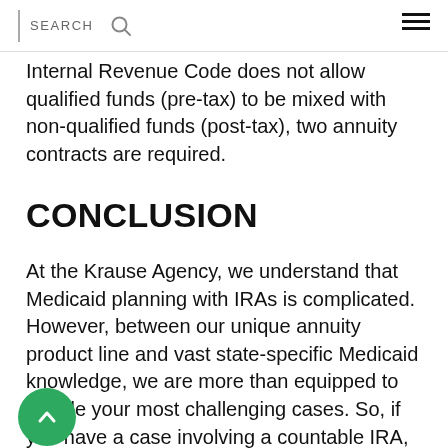SEARCH
Internal Revenue Code does not allow qualified funds (pre-tax) to be mixed with non-qualified funds (post-tax), two annuity contracts are required.
CONCLUSION
At the Krause Agency, we understand that Medicaid planning with IRAs is complicated. However, between our unique annuity product line and vast state-specific Medicaid knowledge, we are more than equipped to handle your most challenging cases. So, if you have a case involving a countable IRA, please do not hesitate to get in touch with us.